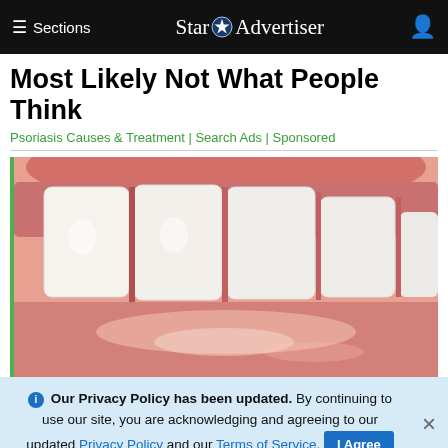≡ Sections   Star Advertiser   [user icon]
Most Likely Not What People Think
Psoriasis Causes & Treatment | Search Ads | Sponsored
[Figure (photo): Close-up photo of a person's white teeth and lips]
🛈 Our Privacy Policy has been updated. By continuing to use our site, you are acknowledging and agreeing to our updated Privacy Policy and our Terms of Service. I Agree